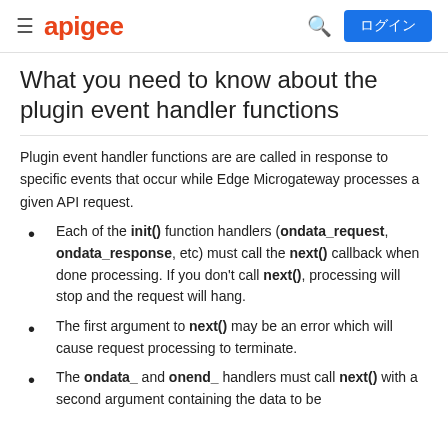apigee  ログイン
What you need to know about the plugin event handler functions
Plugin event handler functions are are called in response to specific events that occur while Edge Microgateway processes a given API request.
Each of the init() function handlers (ondata_request, ondata_response, etc) must call the next() callback when done processing. If you don't call next(), processing will stop and the request will hang.
The first argument to next() may be an error which will cause request processing to terminate.
The ondata_ and onend_ handlers must call next() with a second argument containing the data to be